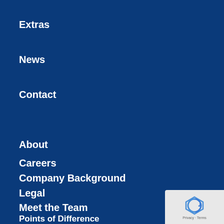Extras
News
Contact
About
Careers
Company Background
Legal
Meet the Team
Points of Difference
RTW Travel App
[Figure (logo): reCAPTCHA badge with Privacy and Terms text]